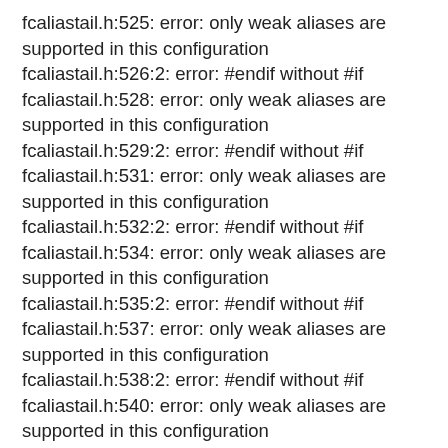fcaliastail.h:525: error: only weak aliases are supported in this configuration
fcaliastail.h:526:2: error: #endif without #if
fcaliastail.h:528: error: only weak aliases are supported in this configuration
fcaliastail.h:529:2: error: #endif without #if
fcaliastail.h:531: error: only weak aliases are supported in this configuration
fcaliastail.h:532:2: error: #endif without #if
fcaliastail.h:534: error: only weak aliases are supported in this configuration
fcaliastail.h:535:2: error: #endif without #if
fcaliastail.h:537: error: only weak aliases are supported in this configuration
fcaliastail.h:538:2: error: #endif without #if
fcaliastail.h:540: error: only weak aliases are supported in this configuration
fcaliastail.h:541:2: error: #endif without #if
fcaliastail.h:543: error: only weak aliases are